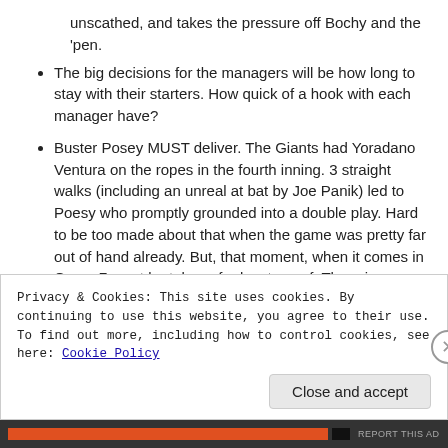unscathed, and takes the pressure off Bochy and the ‘pen.
The big decisions for the managers will be how long to stay with their starters. How quick of a hook with each manager have?
Buster Posey MUST deliver. The Giants had Yoradano Ventura on the ropes in the fourth inning. 3 straight walks (including an unreal at bat by Joe Panik) led to Poesy who promptly grounded into a double play. Hard to be too made about that when the game was pretty far out of hand already. But, that moment, when it comes in Game 7 must be taken of advantage of. There is no tomorrow, Posey must come through.
Final Thoughts:
Privacy & Cookies: This site uses cookies. By continuing to use this website, you agree to their use.
To find out more, including how to control cookies, see here: Cookie Policy